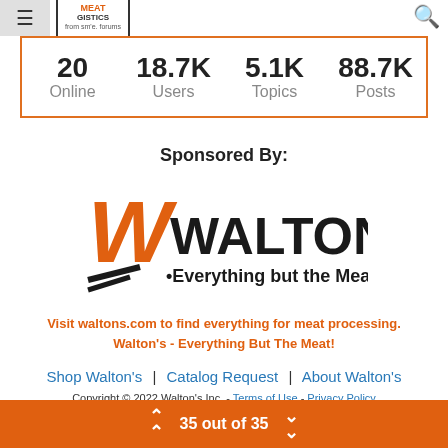MeatGistics | Online | Users | Topics | Posts
| Online | Users | Topics | Posts |
| --- | --- | --- | --- |
| 20 | 18.7K | 5.1K | 88.7K |
Sponsored By:
[Figure (logo): Walton's logo — large orange W with 'WALTON'S' in bold black letters and tagline '•Everything but the Meat•']
Visit waltons.com to find everything for meat processing. Walton's - Everything But The Meat!
Shop Walton's  |  Catalog Request  |  About Walton's
Copyright © 2022 Walton's Inc. - Terms of Use - Privacy Policy
35 out of 35